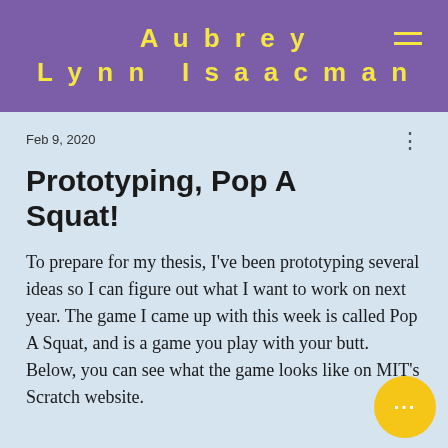Aubrey Lynn Isaacman
Feb 9, 2020
Prototyping, Pop A Squat!
To prepare for my thesis, I've been prototyping several ideas so I can figure out what I want to work on next year. The game I came up with this week is called Pop A Squat, and is a game you play with your butt. Below, you can see what the game looks like on MIT's Scratch website.